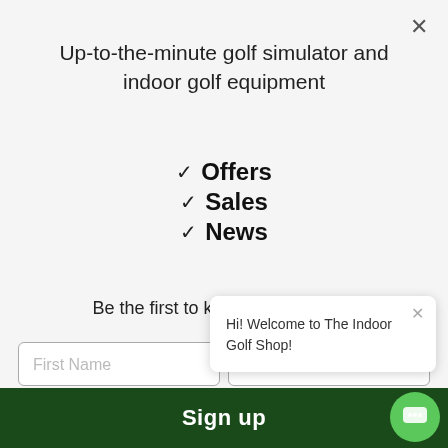Up-to-the-minute golf simulator and indoor golf equipment
✓ Offers
✓ Sales
✓ News
Be the first to know, sign up now!
First Name
Hi! Welcome to The Indoor Golf Shop!
Sign up